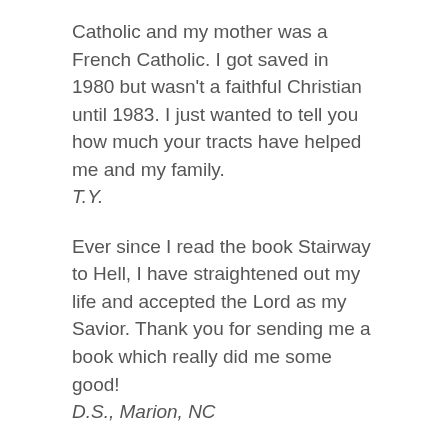Catholic and my mother was a French Catholic. I got saved in 1980 but wasn't a faithful Christian until 1983. I just wanted to tell you how much your tracts have helped me and my family.
T.Y.
Ever since I read the book Stairway to Hell, I have straightened out my life and accepted the Lord as my Savior. Thank you for sending me a book which really did me some good!
D.S., Marion, NC
It seemed like it was yesterday when I read the tract Somebody Loves Me. I was 19 years old when I came to know Jesus as my personal savior. The tract really got to me because it reminded me of myself in Tijuana, Mexico. I have been here in the United States